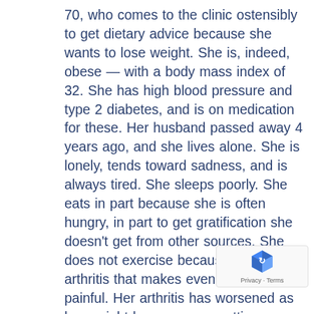70, who comes to the clinic ostensibly to get dietary advice because she wants to lose weight. She is, indeed, obese — with a body mass index of 32. She has high blood pressure and type 2 diabetes, and is on medication for these. Her husband passed away 4 years ago, and she lives alone. She is lonely, tends toward sadness, and is always tired. She sleeps poorly. She eats in part because she is often hungry, in part to get gratification she doesn't get from other sources. She does not exercise because she has arthritis that makes even walking painful. Her arthritis has worsened as her weight has gone up, putting more strain on already